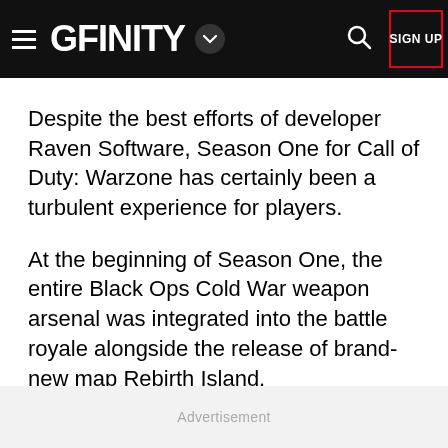GFINITY
Despite the best efforts of developer Raven Software, Season One for Call of Duty: Warzone has certainly been a turbulent experience for players.
At the beginning of Season One, the entire Black Ops Cold War weapon arsenal was integrated into the battle royale alongside the release of brand-new map Rebirth Island.
Advertisement